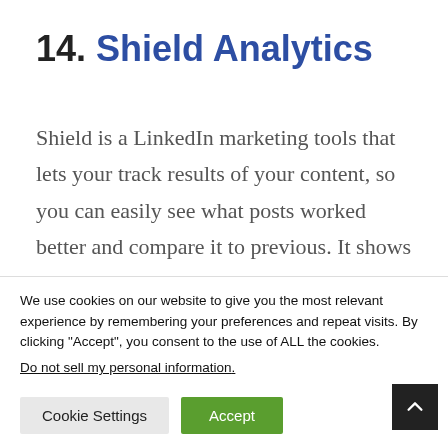14. Shield Analytics
Shield is a LinkedIn marketing tools that lets your track results of your content, so you can easily see what posts worked better and compare it to previous. It shows you almost everything that you need to know about your LinkedIn content and
We use cookies on our website to give you the most relevant experience by remembering your preferences and repeat visits. By clicking “Accept”, you consent to the use of ALL the cookies.
Do not sell my personal information.